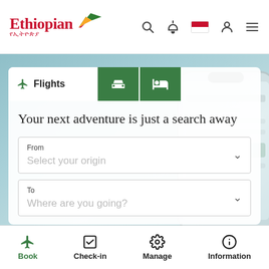[Figure (logo): Ethiopian Airlines logo with bird graphic, red text 'Ethiopian' and Amharic script below]
[Figure (screenshot): Ethiopian Airlines mobile website booking interface showing Flights/Car/Hotel tabs, tagline, From and To search fields, and phone app mockup in background]
Your next adventure is just a search away
From
Select your origin
To
Where are you going?
Book | Check-in | Manage | Information